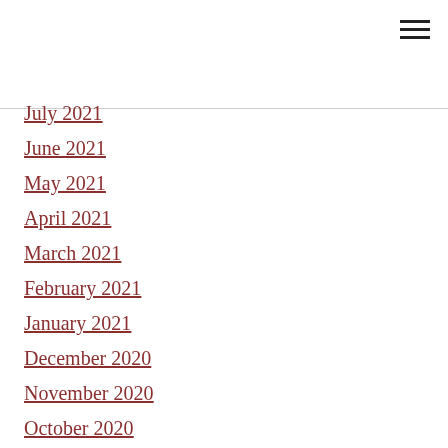[Figure (other): Hamburger menu icon (three horizontal lines) in top right corner]
July 2021
June 2021
May 2021
April 2021
March 2021
February 2021
January 2021
December 2020
November 2020
October 2020
September 2020
August 2020
July 2020
June 2020
May 2020
April 2020
March 2020